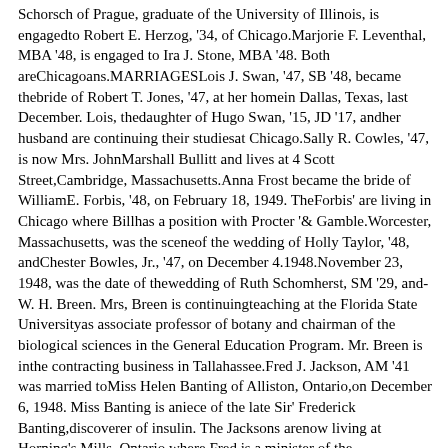Schorsch of Prague, graduate of the University of Illinois, is engagedto Robert E. Herzog, '34, of Chicago.Marjorie F. Leventhal, MBA '48, is engaged to Ira J. Stone, MBA '48. Both areChicagoans.MARRIAGESLois J. Swan, '47, SB '48, became thebride of Robert T. Jones, '47, at her homein Dallas, Texas, last December. Lois, thedaughter of Hugo Swan, '15, JD '17, andher husband are continuing their studiesat Chicago.Sally R. Cowles, '47, is now Mrs. JohnMarshall Bullitt and lives at 4 Scott Street,Cambridge, Massachusetts.Anna Frost became the bride of WilliamE. Forbis, '48, on February 18, 1949. TheForbis' are living in Chicago where Billhas a position with Procter '& Gamble.Worcester, Massachusetts, was the sceneof the wedding of Holly Taylor, '48, andChester Bowles, Jr., '47, on December 4.1948.November 23, 1948, was the date of thewedding of Ruth Schomherst, SM '29, and-W. H. Breen. Mrs, Breen is continuingteaching at the Florida State Universityas associate professor of botany and chairman of the biological sciences in the General Education Program. Mr. Breen is inthe contracting business in Tallahassee.Fred J. Jackson, AM '41 was married toMiss Helen Banting of Alliston, Ontario,on December 6, 1948. Miss Banting is aniece of the late Sir' Frederick Banting,discoverer of insulin. The Jacksons arenow living at Horning's Mills, Ontario,where Fred is a minister of the UnitedChuroh of Canada.Zdenka Pojeta, '44, is now Mrs. R. E.Tillotson, and is living in Chicago.William N. Simonds, Jr., '34, was married to